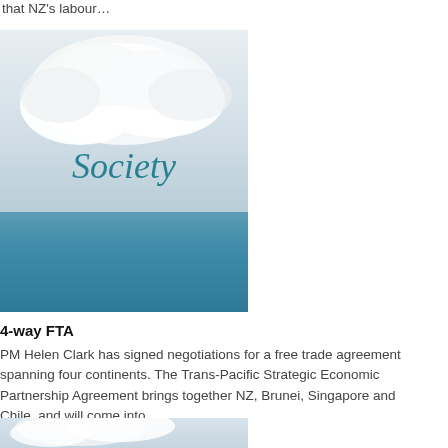that NZ's labour…
[Figure (photo): A scenic image with clouds in the sky above a blue ocean/sea horizon, with the word 'Society' in teal/dark cyan text overlaid in the middle of the image]
4-way FTA
PM Helen Clark has signed negotiations for a free trade agreement spanning four continents. The Trans-Pacific Strategic Economic Partnership Agreement brings together NZ, Brunei, Singapore and Chile, and will come into…
[Figure (photo): Bottom portion of another scenic clouds/sky image, partially visible]